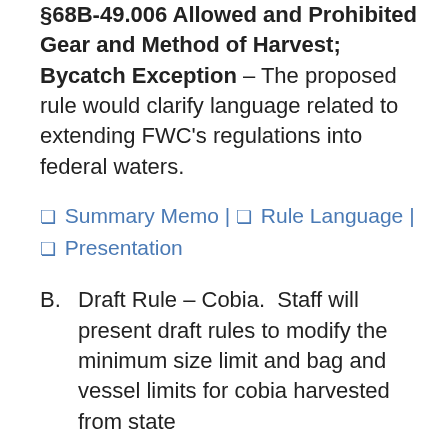§68B-49.006 Allowed and Prohibited Gear and Method of Harvest; Bycatch Exception – The proposed rule would clarify language related to extending FWC's regulations into federal waters.
☒ Summary Memo | ☒ Rule Language | ☒ Presentation
B. Draft Rule – Cobia. Staff will present draft rules to modify the minimum size limit and bag and vessel limits for cobia harvested from state waters of the Gulf of Mexico. Staff...